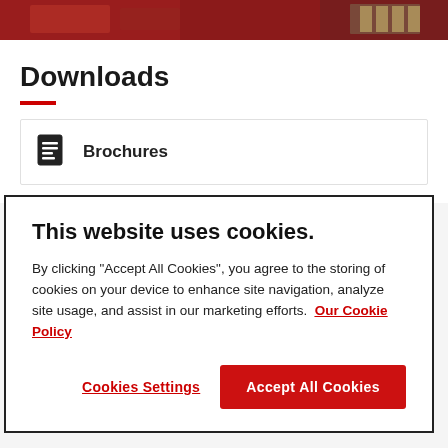[Figure (photo): Top banner image strip showing reddish-brown product packaging or food items]
Downloads
Brochures
Assembly and handling
This website uses cookies.
By clicking “Accept All Cookies”, you agree to the storing of cookies on your device to enhance site navigation, analyze site usage, and assist in our marketing efforts.  Our Cookie Policy
Cookies Settings
Accept All Cookies